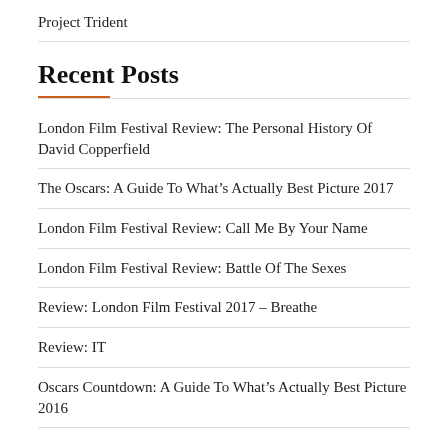Project Trident
Recent Posts
London Film Festival Review: The Personal History Of David Copperfield
The Oscars: A Guide To What's Actually Best Picture 2017
London Film Festival Review: Call Me By Your Name
London Film Festival Review: Battle Of The Sexes
Review: London Film Festival 2017 – Breathe
Review: IT
Oscars Countdown: A Guide To What's Actually Best Picture 2016